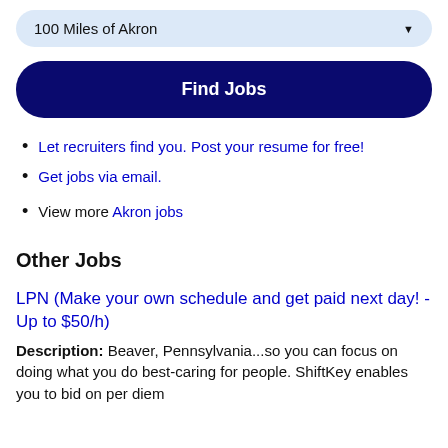100 Miles of Akron
Find Jobs
Let recruiters find you. Post your resume for free!
Get jobs via email.
View more Akron jobs
Other Jobs
LPN (Make your own schedule and get paid next day! - Up to $50/h)
Description: Beaver, Pennsylvania...so you can focus on doing what you do best-caring for people. ShiftKey enables you to bid on per diem